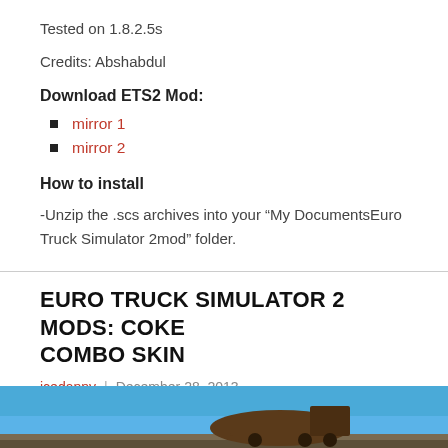Tested on 1.8.2.5s
Credits: Abshabdul
Download ETS2 Mod:
mirror 1
mirror 2
How to install
-Unzip the .scs archives into your “My DocumentsEuro Truck Simulator 2mod” folder.
EURO TRUCK SIMULATOR 2 MODS: COKE COMBO SKIN
icedanny | December 28, 2013
[Figure (photo): Photo of Euro Truck Simulator 2 Coke Combo Skin mod, showing a truck against a blue sky background]